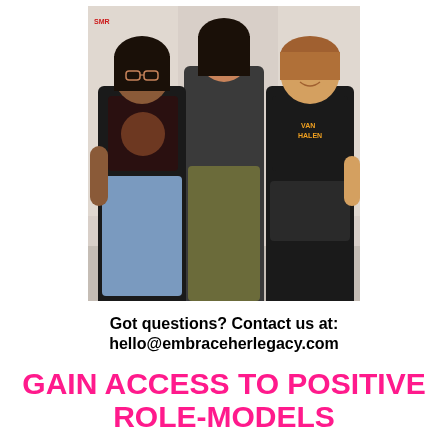[Figure (photo): Three young women smiling and posing together indoors; they are wearing graphic t-shirts. One wears glasses and a colorful shirt with denim shorts, the center wears a black crop top with olive green pants, and the right wears a Van Halen t-shirt.]
Got questions? Contact us at:
hello@embraceherlegacy.com
GAIN ACCESS TO POSITIVE ROLE-MODELS
A hand-selected, diverse group of notable professional women and men will serve as